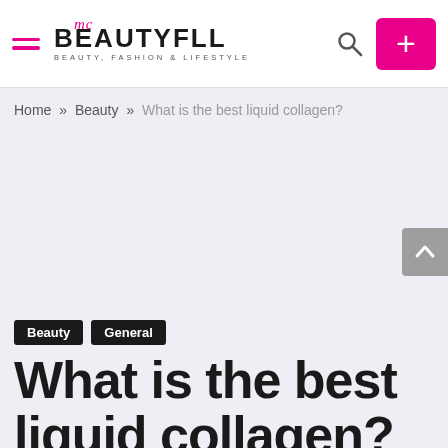BEAUTYFLL — BEAUTY, FASHION & LIFESTYLE
Home » Beauty » What is the best liquid collagen?
Beauty
General
What is the best liquid collagen?